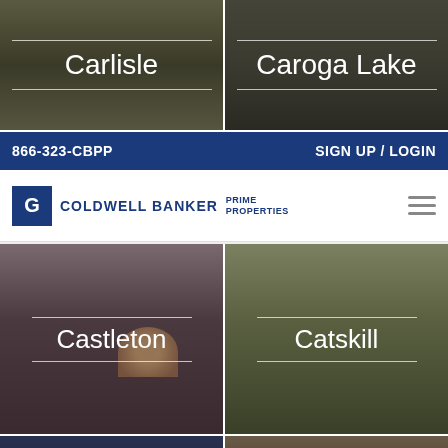[Figure (photo): Carlisle location card with dark outdoor background]
[Figure (photo): Caroga Lake location card with dark background]
866-323-CBPP   SIGN UP / LOGIN
[Figure (logo): Coldwell Banker Prime Properties logo with hamburger menu]
[Figure (photo): Castleton location card with person and dog background]
[Figure (photo): Catskill location card with house background]
[Figure (photo): Partially visible bottom-left location card]
[Figure (photo): Partially visible bottom-right location card]